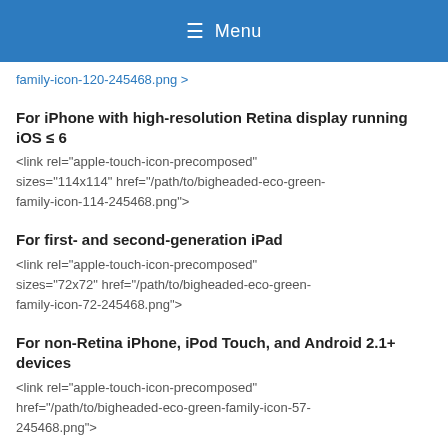≡ Menu
family-icon-120-245468.png >
For iPhone with high-resolution Retina display running iOS ≤ 6
<link rel="apple-touch-icon-precomposed" sizes="114x114" href="/path/to/bigheaded-eco-green-family-icon-114-245468.png">
For first- and second-generation iPad
<link rel="apple-touch-icon-precomposed" sizes="72x72" href="/path/to/bigheaded-eco-green-family-icon-72-245468.png">
For non-Retina iPhone, iPod Touch, and Android 2.1+ devices
<link rel="apple-touch-icon-precomposed" href="/path/to/bigheaded-eco-green-family-icon-57-245468.png">